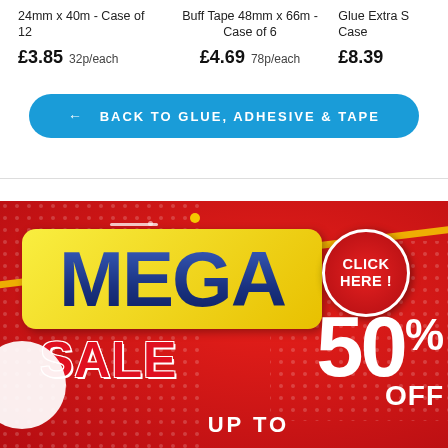24mm x 40m - Case of 12
£3.85  32p/each
Buff Tape 48mm x 66m - Case of 6
£4.69  78p/each
Glue Extra S Case...
£8.39
← BACK TO GLUE, ADHESIVE & TAPE
[Figure (illustration): Mega Sale promotional banner with red background, yellow 'MEGA' text block, red 'SALE' text, 'CLICK HERE!' circle badge, '50% OFF' in white large text, 'UP TO' text at the bottom]